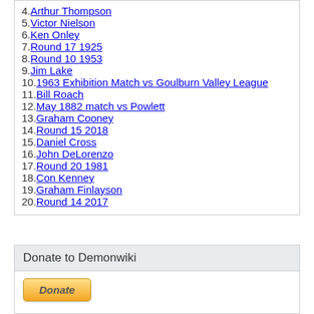4. Arthur Thompson
5. Victor Nielson
6. Ken Onley
7. Round 17 1925
8. Round 10 1953
9. Jim Lake
10. 1963 Exhibition Match vs Goulburn Valley League
11. Bill Roach
12. May 1882 match vs Powlett
13. Graham Cooney
14. Round 15 2018
15. Daniel Cross
16. John DeLorenzo
17. Round 20 1981
18. Con Kenney
19. Graham Finlayson
20. Round 14 2017
Donate to Demonwiki
[Figure (other): PayPal Donate button]